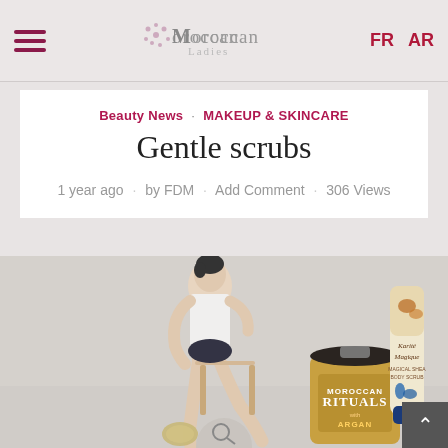Moroccan Ladies — FR AR
Beauty News · MAKEUP & SKINCARE
Gentle scrubs
1 year ago • by FDM • Add Comment • 306 Views
[Figure (photo): Woman in white tank top seated on a stool, scrubbing her leg with a loofah. Moroccan Rituals Argan body scrub jar and Karité Magique body scrub tube visible beside her.]